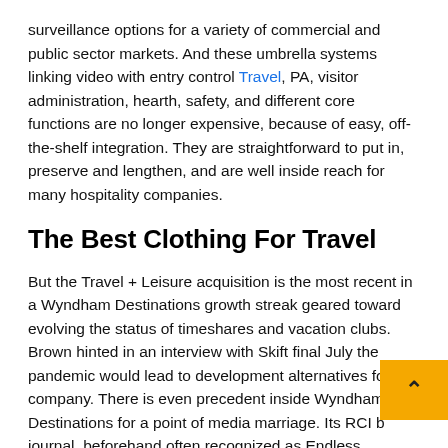surveillance options for a variety of commercial and public sector markets. And these umbrella systems linking video with entry control Travel, PA, visitor administration, hearth, safety, and different core functions are no longer expensive, because of easy, off-the-shelf integration. They are straightforward to put in, preserve and lengthen, and are well inside reach for many hospitality companies.
The Best Clothing For Travel
But the Travel + Leisure acquisition is the most recent in a Wyndham Destinations growth streak geared toward evolving the status of timeshares and vacation clubs. Brown hinted in an interview with Skift final July the pandemic would lead to development alternatives for the company. There is even precedent inside Wyndham Destinations for a point of media marriage. Its RCI b journal, beforehand often recognized as Endless Vacation journal, had one of many travel sector's largest